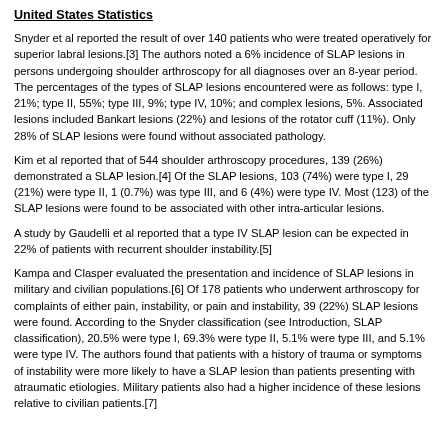United States Statistics
Snyder et al reported the result of over 140 patients who were treated operatively for superior labral lesions.[3] The authors noted a 6% incidence of SLAP lesions in persons undergoing shoulder arthroscopy for all diagnoses over an 8-year period. The percentages of the types of SLAP lesions encountered were as follows: type I, 21%; type II, 55%; type III, 9%; type IV, 10%; and complex lesions, 5%. Associated lesions included Bankart lesions (22%) and lesions of the rotator cuff (11%). Only 28% of SLAP lesions were found without associated pathology.
Kim et al reported that of 544 shoulder arthroscopy procedures, 139 (26%) demonstrated a SLAP lesion.[4] Of the SLAP lesions, 103 (74%) were type I, 29 (21%) were type II, 1 (0.7%) was type III, and 6 (4%) were type IV. Most (123) of the SLAP lesions were found to be associated with other intra-articular lesions.
A study by Gaudelli et al reported that a type IV SLAP lesion can be expected in 22% of patients with recurrent shoulder instability.[5]
Kampa and Clasper evaluated the presentation and incidence of SLAP lesions in military and civilian populations.[6] Of 178 patients who underwent arthroscopy for complaints of either pain, instability, or pain and instability, 39 (22%) SLAP lesions were found. According to the Snyder classification (see Introduction, SLAP classification), 20.5% were type I, 69.3% were type II, 5.1% were type III, and 5.1% were type IV. The authors found that patients with a history of trauma or symptoms of instability were more likely to have a SLAP lesion than patients presenting with atraumatic etiologies. Military patients also had a higher incidence of these lesions relative to civilian patients.[7]